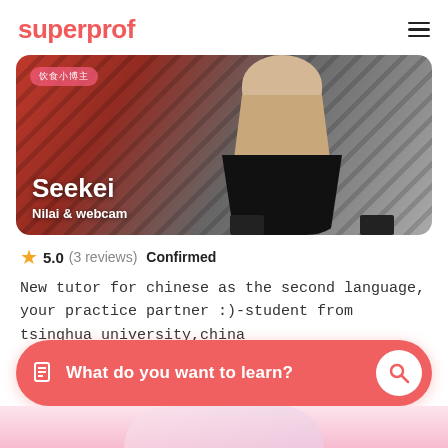superprof
[Figure (photo): Tutor profile card showing a person in a black pleated skirt standing against a red diagonal-pattern background. Text overlay shows name 'Seekei' and subtitle 'Nilai & webcam'. A pink pill label with Chinese characters is in the top left corner of the image.]
5.0 (3 reviews)  Confirmed
New tutor for chinese as the second language, your practice partner :)-student from tsinghua university,china
What do you want to learn?